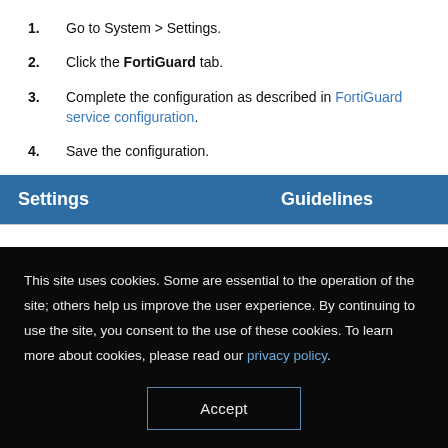1. Go to System > Settings.
2. Click the FortiGuard tab.
3. Complete the configuration as described in FortiGuard service configuration.
4. Save the configuration.
| Settings | Guidelines |
| --- | --- |
This site uses cookies. Some are essential to the operation of the site; others help us improve the user experience. By continuing to use the site, you consent to the use of these cookies. To learn more about cookies, please read our privacy policy.